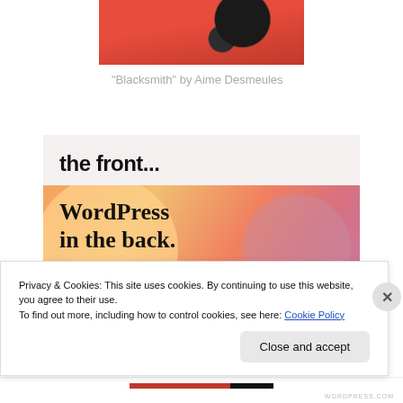[Figure (photo): Photo of a blacksmith scene with red background, person working with metal tools]
"Blacksmith" by Aime Desmeules
[Figure (infographic): Promotional banner reading 'the front...' in bold black text on light background, with 'WordPress in the back.' in bold serif on colourful gradient background with peach, pink, and mauve circular shapes]
Privacy & Cookies: This site uses cookies. By continuing to use this website, you agree to their use.
To find out more, including how to control cookies, see here: Cookie Policy